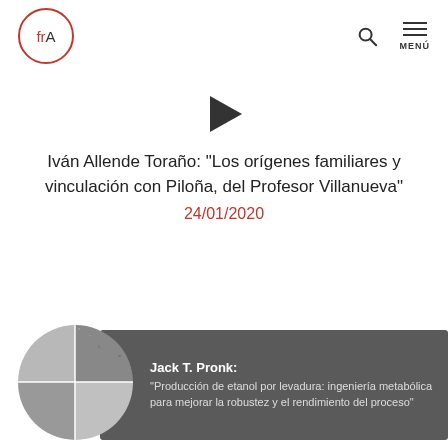[Figure (logo): frA logo in a red circle]
[Figure (illustration): Play button triangle icon]
Iván Allende Toraño: "Los orígenes familiares y vinculación con Piloña, del Profesor Villanueva"
24/01/2020
[Figure (photo): Circular collage of grayscale stone/material texture images alongside a dark grey card with text: Jack T. Pronk: "Producción de etanol por levadura: ingeniería metabólica para mejorar la robustez y el rendimiento del proceso"]